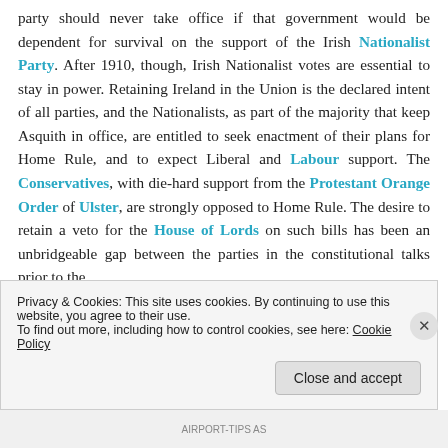party should never take office if that government would be dependent for survival on the support of the Irish Nationalist Party. After 1910, though, Irish Nationalist votes are essential to stay in power. Retaining Ireland in the Union is the declared intent of all parties, and the Nationalists, as part of the majority that keep Asquith in office, are entitled to seek enactment of their plans for Home Rule, and to expect Liberal and Labour support. The Conservatives, with die-hard support from the Protestant Orange Order of Ulster, are strongly opposed to Home Rule. The desire to retain a veto for the House of Lords on such bills has been an unbridgeable gap between the parties in the constitutional talks prior to the
Privacy & Cookies: This site uses cookies. By continuing to use this website, you agree to their use.
To find out more, including how to control cookies, see here: Cookie Policy
Close and accept
AIRPORT-TIPS AS